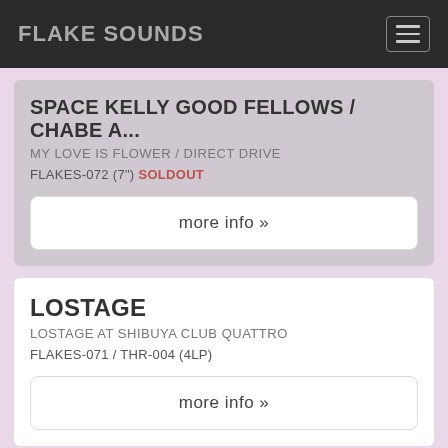FLAKE SOUNDS
SPACE KELLY GOOD FELLOWS / CHABE A...
MY LOVE IS FLOWER / DIRECT DRIVE
FLAKES-072 (7") SOLDOUT
more info »
LOSTAGE
LOSTAGE AT SHIBUYA CLUB QUATTRO
FLAKES-071 / THR-004 (4LP)
more info »
TOTOS